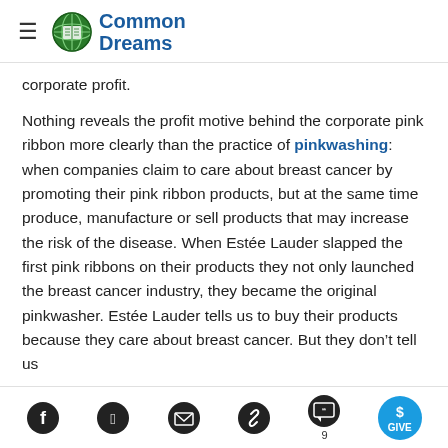Common Dreams
corporate profit.
Nothing reveals the profit motive behind the corporate pink ribbon more clearly than the practice of pinkwashing: when companies claim to care about breast cancer by promoting their pink ribbon products, but at the same time produce, manufacture or sell products that may increase the risk of the disease. When Estée Lauder slapped the first pink ribbons on their products they not only launched the breast cancer industry, they became the original pinkwasher. Estée Lauder tells us to buy their products because they care about breast cancer. But they don't tell us
Social share icons: Facebook, Twitter, Email, Link, Comments (9), GIVE